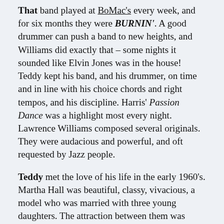That band played at BoMac's every week, and for six months they were BURNIN'. A good drummer can push a band to new heights, and Williams did exactly that – some nights it sounded like Elvin Jones was in the house!  Teddy kept his band, and his drummer, on time and in line with his choice chords and right tempos, and his discipline.  Harris' Passion Dance was a highlight most every night.  Lawrence Williams composed several originals. They were audacious and powerful, and oft requested by Jazz people.
Teddy met the love of his life in the early 1960's.  Martha Hall was beautiful, classy, vivacious, a model who was married with three young daughters.  The attraction between them was irresistible, and they finally got together and married in the early 1970's.  "They got